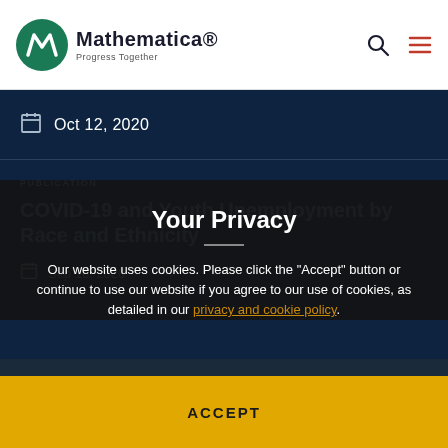Mathematica. Progress Together
Oct 12, 2020
PUBLICATION
COVID-19 and Youth Unemployment by Race and Ethnicity
Sep 16, 2020
RELATED STAFF
Your Privacy
Our website uses cookies. Please click the "Accept" button or continue to use our website if you agree to our use of cookies, as detailed in our privacy and cookie policy.
ACCEPT